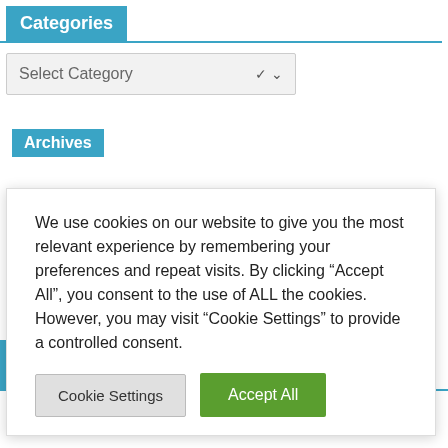Categories
Select Category
Archives
We use cookies on our website to give you the most relevant experience by remembering your preferences and repeat visits. By clicking “Accept All”, you consent to the use of ALL the cookies. However, you may visit “Cookie Settings” to provide a controlled consent.
Cookie Settings
Accept All
Support me through Paypal. Click link below
[Figure (other): Donate button (PayPal style gold/yellow rounded button with italic bold text 'Donate')]
[Figure (other): Scroll-to-top chevron arrow icon pointing upward in teal/blue color]